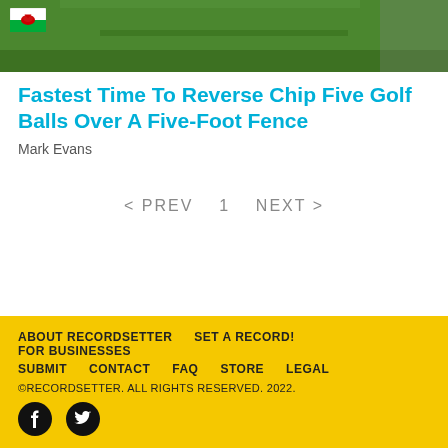[Figure (photo): Outdoor photo showing a green golf putting area with a Wales flag icon overlay in top-left corner]
Fastest Time To Reverse Chip Five Golf Balls Over A Five-Foot Fence
Mark Evans
< PREV   1   NEXT >
ABOUT RECORDSETTER   SET A RECORD!   FOR BUSINESSES   SUBMIT   CONTACT   FAQ   STORE   LEGAL   ©RECORDSETTER. ALL RIGHTS RESERVED. 2022.